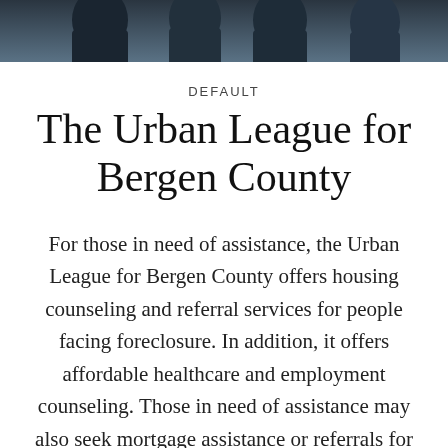[Figure (photo): A banner photo showing people in formal attire, partially cropped at the top of the page]
DEFAULT
The Urban League for Bergen County
For those in need of assistance, the Urban League for Bergen County offers housing counseling and referral services for people facing foreclosure. In addition, it offers affordable healthcare and employment counseling. Those in need of assistance may also seek mortgage assistance or referrals for